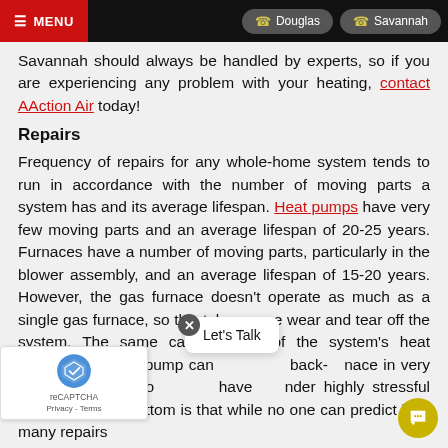MENU | Douglas | Savannah
Savannah should always be handled by experts, so if you are experiencing any problem with your heating, contact AAction Air today!
Repairs
Frequency of repairs for any whole-home system tends to run in accordance with the number of moving parts a system has and its average lifespan. Heat pumps have very few moving parts and an average lifespan of 20-25 years. Furnaces have a number of moving parts, particularly in the blower assembly, and an average lifespan of 15-20 years. However, the gas furnace doesn’t operate as much as a single gas furnace, so this takes some wear and tear off the system. The same can be said of the system’s heat because the heat pump can switch to back-furnace in very cold weather, it, too, have under highly stressful conditions. The bottom is that while no one can predict how many repairs